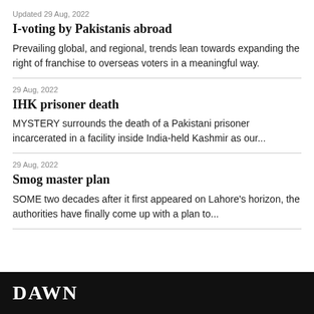Updated 29 Aug, 2022
I-voting by Pakistanis abroad
Prevailing global, and regional, trends lean towards expanding the right of franchise to overseas voters in a meaningful way.
29 Aug, 2022
IHK prisoner death
MYSTERY surrounds the death of a Pakistani prisoner incarcerated in a facility inside India-held Kashmir as our...
29 Aug, 2022
Smog master plan
SOME two decades after it first appeared on Lahore's horizon, the authorities have finally come up with a plan to...
DAWN